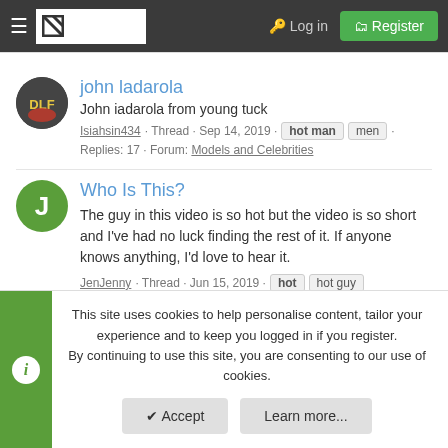KLPSG — Log in — Register
john ladarola
John iadarola from young tuck
Isiahsin434 · Thread · Sep 14, 2019 · hot man · men · Replies: 17 · Forum: Models and Celebrities
Who Is This?
The guy in this video is so hot but the video is so short and I've had no luck finding the rest of it. If anyone knows anything, I'd love to hear it.
JenJenny · Thread · Jun 15, 2019 · hot · hot guy
This site uses cookies to help personalise content, tailor your experience and to keep you logged in if you register.
By continuing to use this site, you are consenting to our use of cookies.